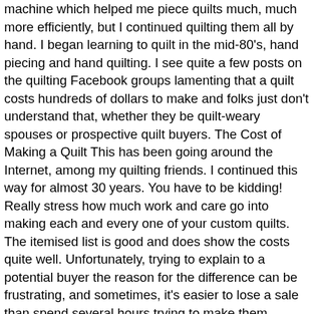machine which helped me piece quilts much, much more efficiently, but I continued quilting them all by hand. I began learning to quilt in the mid-80's, hand piecing and hand quilting. I see quite a few posts on the quilting Facebook groups lamenting that a quilt costs hundreds of dollars to make and folks just don't understand that, whether they be quilt-weary spouses or prospective quilt buyers. The Cost of Making a Quilt This has been going around the Internet, among my quilting friends. I continued this way for almost 30 years. You have to be kidding! Really stress how much work and care go into making each and every one of your custom quilts. The itemised list is good and does show the costs quite well. Unfortunately, trying to explain to a potential buyer the reason for the difference can be frustrating, and sometimes, it's easier to lose a sale than spend several hours trying to make them understand. This often means their expertise and tools, even (if you are lucky) their fabric stash. To add 2 inches (5.1 cm), you'll need a piece of backing that's 52 by 52 inches (130 cm × 130 cm). Then it's off to the testers. Some of the methods may seem complicated, but unless you want to work yourself into the ground, it's crucial to pick the correct one and use it consistently. Is the cost of a homemade quilt worth it? Shortly, we'll take a look at one of the easiest formulas to help price up a quilt, but beforehand, let's consider the factors you need to consider when